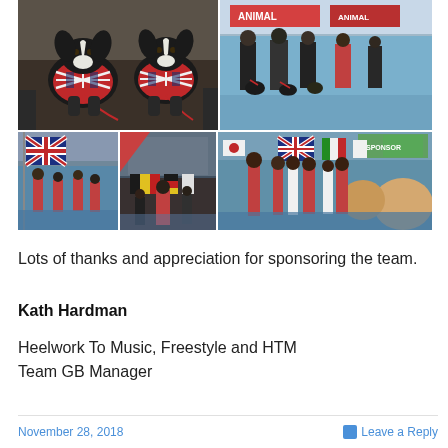[Figure (photo): Collage of 5 photos from a dog sports event. Top-left: two border collies wearing Union Jack jackets and red leads. Top-right: handlers walking dogs on a blue arena floor with 'ANIMAL' banner in background. Bottom-left: team with Union Jack flag on blue arena floor. Bottom-center: person in red jacket near national flags including Belgian, German flags. Bottom-right: crowd watching international teams with various national flags including Union Jack, Italian, Japanese flags in an indoor arena.]
Lots of thanks and appreciation for sponsoring the team.
Kath Hardman
Heelwork To Music, Freestyle and HTM Team GB Manager
November 28, 2018   Leave a Reply